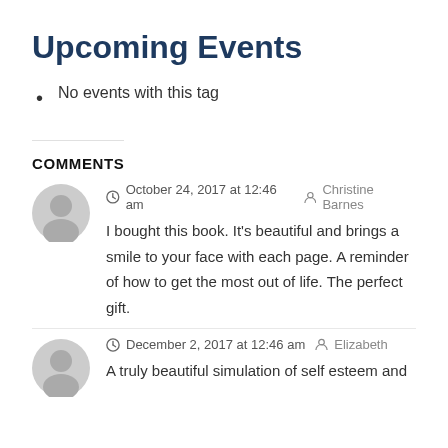Upcoming Events
No events with this tag
COMMENTS
October 24, 2017 at 12:46 am  Christine Barnes
I bought this book. It’s beautiful and brings a smile to your face with each page. A reminder of how to get the most out of life. The perfect gift.
December 2, 2017 at 12:46 am  Elizabeth
A truly beautiful simulation of self esteem and